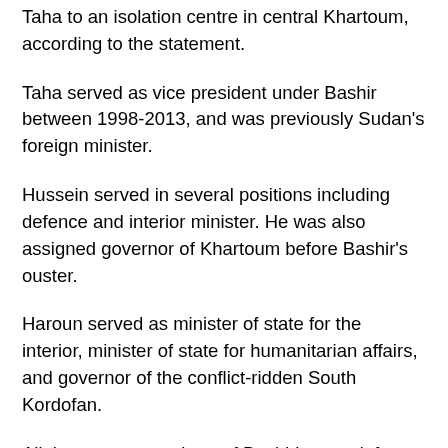Taha to an isolation centre in central Khartoum, according to the statement.
Taha served as vice president under Bashir between 1998-2013, and was previously Sudan's foreign minister.
Hussein served in several positions including defence and interior minister. He was also assigned governor of Khartoum before Bashir's ouster.
Haroun served as minister of state for the interior, minister of state for humanitarian affairs, and governor of the conflict-ridden South Kordofan.
All three were members of Bashir's now-defunct National Congress Party.